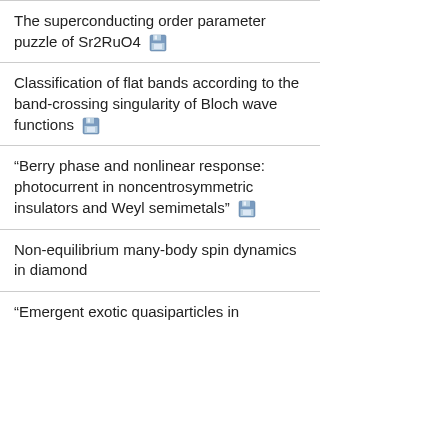The superconducting order parameter puzzle of Sr2RuO4
Classification of flat bands according to the band-crossing singularity of Bloch wave functions
“Berry phase and nonlinear response: photocurrent in noncentrosymmetric insulators and Weyl semimetals”
Non-equilibrium many-body spin dynamics in diamond
“Emergent exotic quasiparticles in…